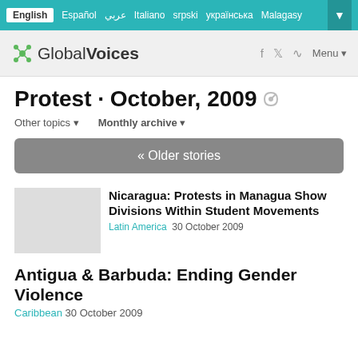English | Español | عربي | Italiano | srpski | українська | Malagasy
[Figure (logo): Global Voices logo with green network icon and site name]
Protest · October, 2009
Other topics ▾   Monthly archive ▾
« Older stories
Nicaragua: Protests in Managua Show Divisions Within Student Movements
Latin America  30 October 2009
Antigua & Barbuda: Ending Gender Violence
Caribbean  30 October 2009